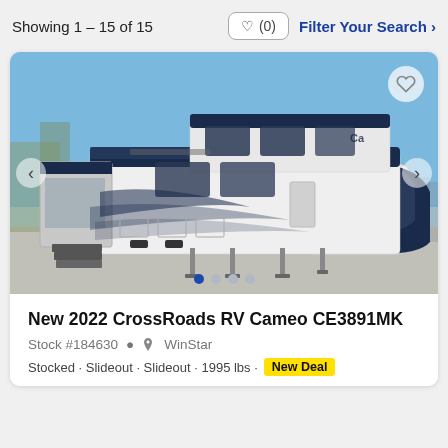Showing 1 – 15 of 15
[Figure (photo): Exterior photo of a white and dark blue CrossRoads RV Cameo fifth-wheel trailer parked outdoors on a paved lot. The RV has multiple slide-outs visible, steps deployed, and stabilizer legs extended. Trees and another RV are partially visible in the background. Navigation arrows and carousel dots are overlaid on the image.]
New 2022 CrossRoads RV Cameo CE3891MK
Stock #184630  WinStar
New